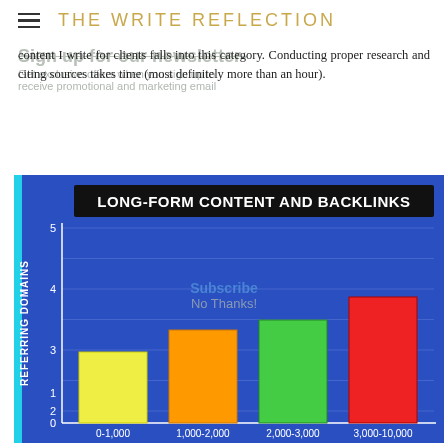THE WRITE REFLECTION
Sign up for our newsletter-
Get exclusive offers when you sign up to receive promotional and marketing email
content I write for clients falls into this category. Conducting proper research and citing sources takes time (most definitely more than an hour).
[Figure (bar-chart): LONG-FORM CONTENT AND BACKLINKS]